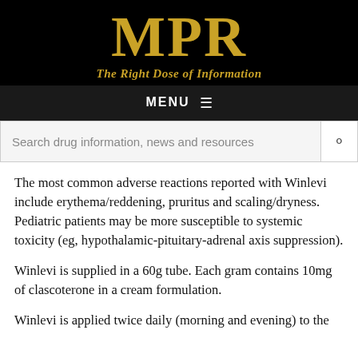MPR — The Right Dose of Information
MENU ≡
Search drug information, news and resources
The most common adverse reactions reported with Winlevi include erythema/reddening, pruritus and scaling/dryness. Pediatric patients may be more susceptible to systemic toxicity (eg, hypothalamic-pituitary-adrenal axis suppression).
Winlevi is supplied in a 60g tube. Each gram contains 10mg of clascoterone in a cream formulation.
Winlevi is applied twice daily (morning and evening) to the